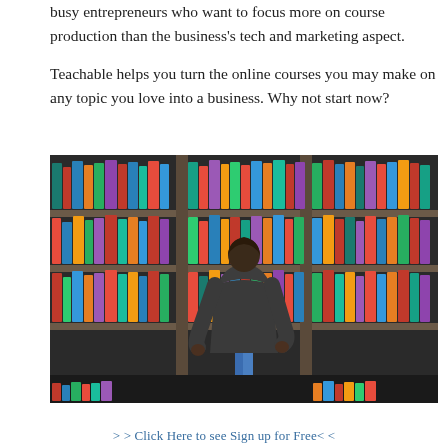busy entrepreneurs who want to focus more on course production than the business's tech and marketing aspect.

Teachable helps you turn the online courses you may make on any topic you love into a business. Why not start now?
[Figure (photo): A person standing with their back to the camera browsing colorful books on large library shelves divided into three sections by vertical supports.]
> > Click Here to see Sign up for Free< <